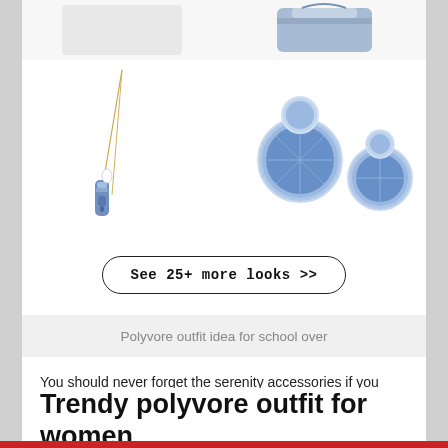[Figure (photo): Four-cell product grid showing jewelry and accessories: top-left partial product image, top-right blue/grey accessory bag, bottom-left gold necklace with blue stone pendant, bottom-right blue crystal drop earrings in silver settings]
See 25+ more looks >>
Polyvore outfit idea for school over
You should never forget the serenity accessories if you want to look fashionable and complete.
Trendy polyvore outfit for women